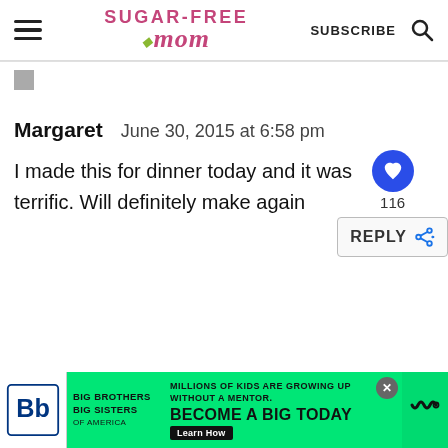Sugar-Free Mom — SUBSCRIBE
Margaret   June 30, 2015 at 6:58 pm
I made this for dinner today and it was terrific. Will definitely make again
116
REPLY
MILLIONS OF KIDS ARE GROWING UP WITHOUT A MENTOR. BECOME A BIG TODAY. Learn How